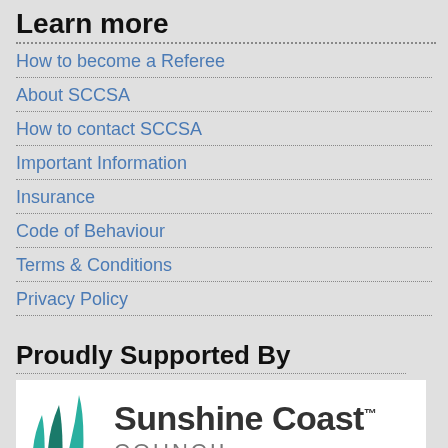Learn more
How to become a Referee
About SCCSA
How to contact SCCSA
Important Information
Insurance
Code of Behaviour
Terms & Conditions
Privacy Policy
Proudly Supported By
[Figure (logo): Sunshine Coast Council logo with teal grass/leaf graphic on the left and bold dark text 'Sunshine Coast™ COUNCIL' on the right]